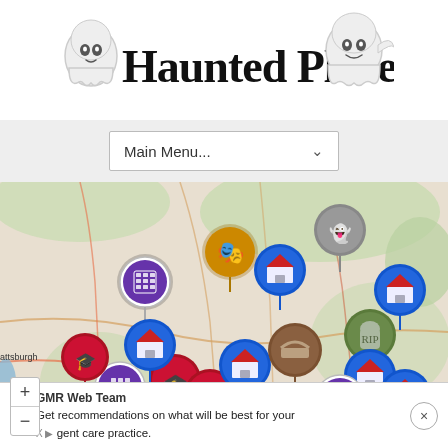[Figure (logo): Haunted Places logo with ghost illustrations on both sides and stylized text reading 'Haunted Places']
[Figure (screenshot): Navigation bar with a dropdown menu labeled 'Main Menu...' with a chevron arrow]
[Figure (map): Interactive map showing haunted locations near Lake Champlain / Plattsburgh area with various map pins representing different types of haunted places: houses, buildings, cemeteries, theaters, schools, ghost icons. Map has zoom controls (+/-).]
GMR Web Team
Get recommendations on what will be best for your agent care practice.